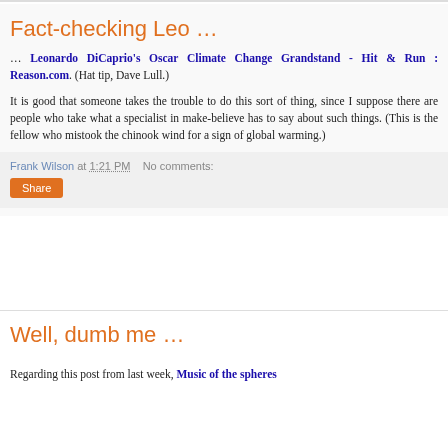Fact-checking Leo …
… Leonardo DiCaprio's Oscar Climate Change Grandstand - Hit & Run : Reason.com. (Hat tip, Dave Lull.)
It is good that someone takes the trouble to do this sort of thing, since I suppose there are people who take what a specialist in make-believe has to say about such things. (This is the fellow who mistook the chinook wind for a sign of global warming.)
Frank Wilson at 1:21 PM   No comments:
Share
Well, dumb me …
Regarding this post from last week, Music of the spheres